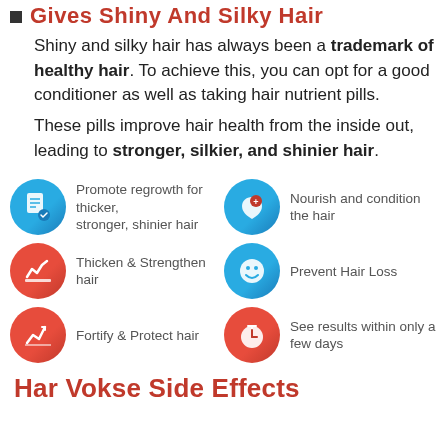Gives Shiny And Silky Hair
Shiny and silky hair has always been a trademark of healthy hair. To achieve this, you can opt for a good conditioner as well as taking hair nutrient pills.
These pills improve hair health from the inside out, leading to stronger, silkier, and shinier hair.
Promote regrowth for thicker, stronger, shinier hair
Nourish and condition the hair
Thicken & Strengthen hair
Prevent Hair Loss
Fortify & Protect hair
See results within only a few days
Har Vokse Side Effects